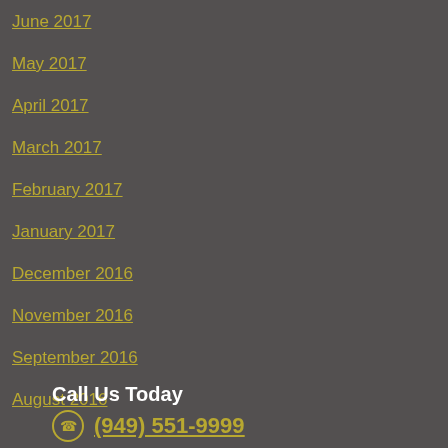June 2017
May 2017
April 2017
March 2017
February 2017
January 2017
December 2016
November 2016
September 2016
August 2016
Call Us Today
(949) 551-9999